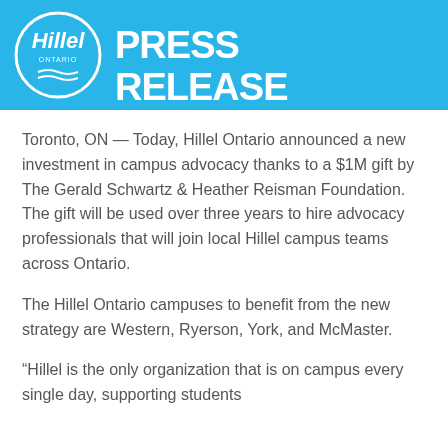[Figure (logo): Hillel Ontario logo with blue circular badge and 'PRESS RELEASE' text banner on cyan/blue background]
Toronto, ON — Today, Hillel Ontario announced a new investment in campus advocacy thanks to a $1M gift by The Gerald Schwartz & Heather Reisman Foundation. The gift will be used over three years to hire advocacy professionals that will join local Hillel campus teams across Ontario.
The Hillel Ontario campuses to benefit from the new strategy are Western, Ryerson, York, and McMaster.
“Hillel is the only organization that is on campus every single day, supporting students